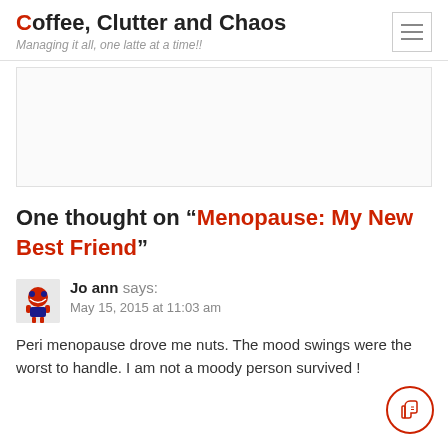Coffee, Clutter and Chaos
Managing it all, one latte at a time!!
[Figure (other): Empty advertisement box with border]
One thought on “Menopause: My New Best Friend”
Jo ann says:
May 15, 2015 at 11:03 am
Peri menopause drove me nuts. The mood swings were the worst to handle. I am not a moody person survived !